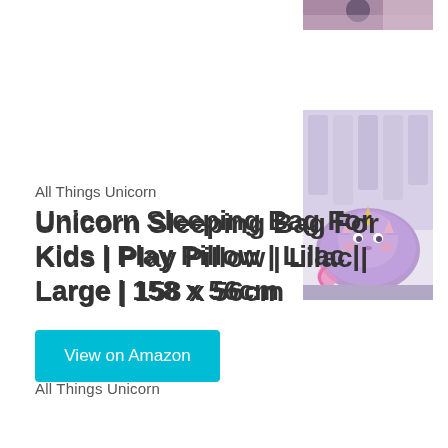[Figure (photo): Partial thumbnail of a child with unicorn product, top-right corner, partially cropped]
[Figure (photo): Thumbnail image of a purple/lilac unicorn-shaped sleeping bag pillow product against a decorative background]
All Things Unicorn
Unicorn Sleeping Bag For Kids | Play Pillow | Lilac | Large | 158 x 56cm
View on Amazon